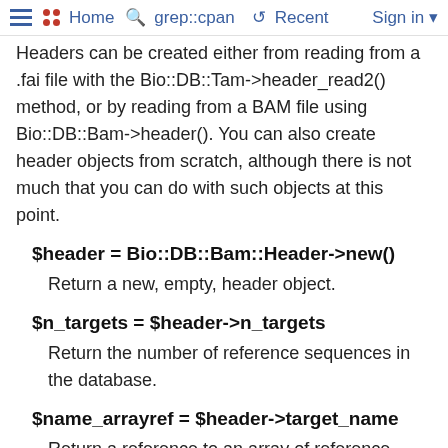Home  grep::cpan  Recent  Sign in
Headers can be created either from reading from a .fai file with the Bio::DB::Tam->header_read2() method, or by reading from a BAM file using Bio::DB::Bam->header(). You can also create header objects from scratch, although there is not much that you can do with such objects at this point.
$header = Bio::DB::Bam::Header->new()
Return a new, empty, header object.
$n_targets = $header->n_targets
Return the number of reference sequences in the database.
$name_arrayref = $header->target_name
Return a reference to an array of reference sequence names, corresponding to the high-